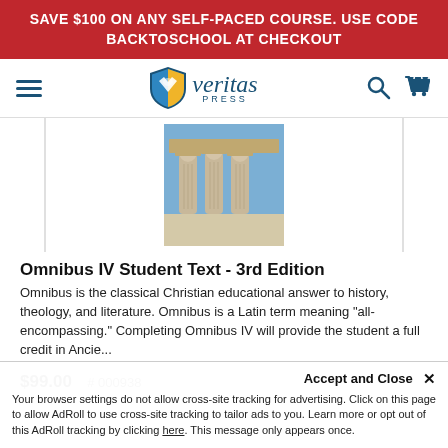SAVE $100 ON ANY SELF-PACED COURSE. USE CODE BACKTOSCHOOL AT CHECKOUT
[Figure (logo): Veritas Press logo with shield icon and text]
[Figure (photo): Photo of ancient Greek caryatid statues on a building]
Omnibus IV Student Text - 3rd Edition
Omnibus is the classical Christian educational answer to history, theology, and literature. Omnibus is a Latin term meaning "all-encompassing." Completing Omnibus IV will provide the student a full credit in Ancie...
$99.00  # 000938
Accept and Close ✕
Your browser settings do not allow cross-site tracking for advertising. Click on this page to allow AdRoll to use cross-site tracking to tailor ads to you. Learn more or opt out of this AdRoll tracking by clicking here. This message only appears once.